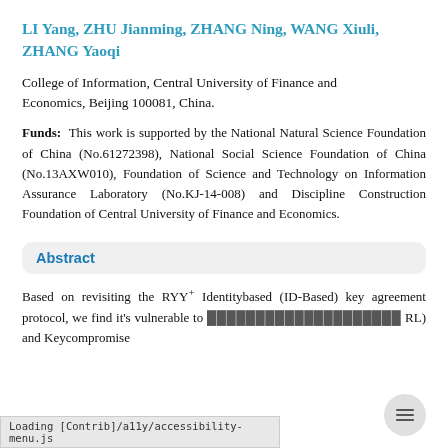LI Yang, ZHU Jianming, ZHANG Ning, WANG Xiuli, ZHANG Yaoqi
College of Information, Central University of Finance and Economics, Beijing 100081, China
Funds: This work is supported by the National Natural Science Foundation of China (No.61272398), National Social Science Foundation of China (No.13AXW010), Foundation of Science and Technology on Information Assurance Laboratory (No.KJ-14-008) and Discipline Construction Foundation of Central University of Finance and Economics.
Abstract
Based on revisiting the RYY+ Identitybased (ID-Based) key agreement protocol, we find it's vulnerable to ... (RL) and Keycompromise